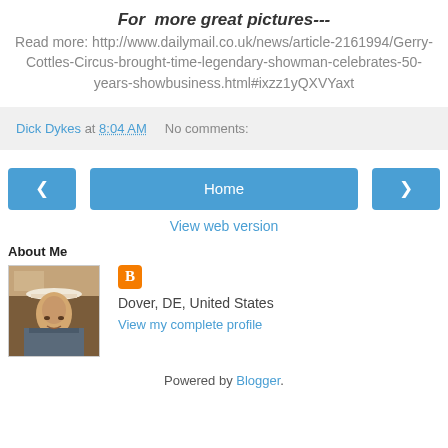For  more great pictures---
Read more: http://www.dailymail.co.uk/news/article-2161994/Gerry-Cottles-Circus-brought-time-legendary-showman-celebrates-50-years-showbusiness.html#ixzz1yQXVYaxt
Dick Dykes at 8:04 AM    No comments:
‹    Home    ›
View web version
About Me
[Figure (photo): Profile photo of a man wearing a white cowboy hat]
Dover, DE, United States
View my complete profile
Powered by Blogger.